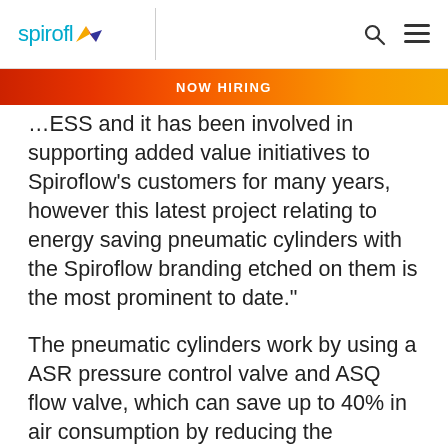spiroflow | NOW HIRING
…ESS and it has been involved in supporting added value initiatives to Spiroflow’s customers for many years, however this latest project relating to energy saving pneumatic cylinders with the Spiroflow branding etched on them is the most prominent to date.”
The pneumatic cylinders work by using a ASR pressure control valve and ASQ flow valve, which can save up to 40% in air consumption by reducing the pressure on the return stroke. The cylinders are easy to operate, adjusting the speed to meet requirements, as well as there being no delay in response time to